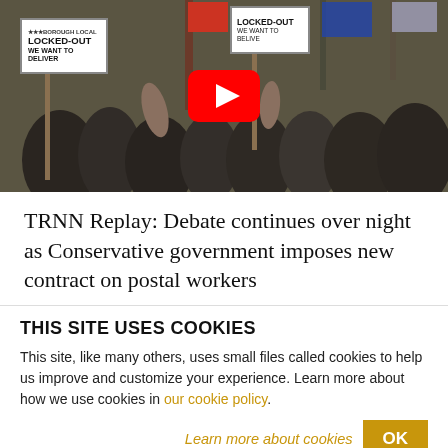[Figure (screenshot): Video thumbnail showing a protest crowd holding 'LOCKED-OUT WE WANT TO DELIVER' signs with a YouTube play button overlay]
TRNN Replay: Debate continues over night as Conservative government imposes new contract on postal workers
THIS SITE USES COOKIES
This site, like many others, uses small files called cookies to help us improve and customize your experience. Learn more about how we use cookies in our cookie policy.
Learn more about cookies   OK